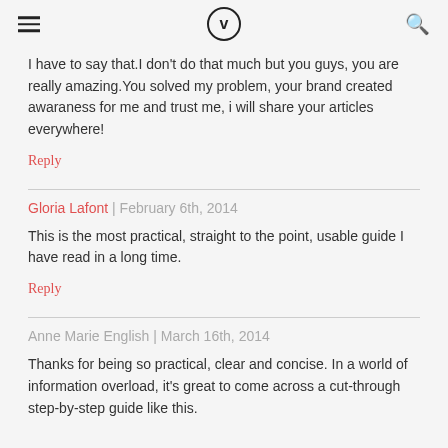[hamburger menu] [logo: V in circle] [search icon]
I have to say that.I don't do that much but you guys, you are really amazing.You solved my problem, your brand created awaraness for me and trust me, i will share your articles everywhere!
Reply
Gloria Lafont | February 6th, 2014
This is the most practical, straight to the point, usable guide I have read in a long time.
Reply
Anne Marie English | March 16th, 2014
Thanks for being so practical, clear and concise. In a world of information overload, it's great to come across a cut-through step-by-step guide like this.